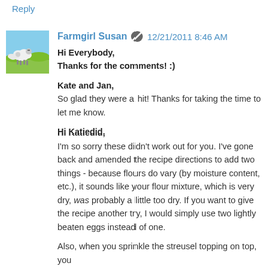Reply
[Figure (illustration): Avatar image of a farmgirl with sheep on a green and blue background]
Farmgirl Susan 12/21/2011 8:46 AM
Hi Everybody,
Thanks for the comments! :)

Kate and Jan,
So glad they were a hit! Thanks for taking the time to let me know.

Hi Katiedid,
I'm so sorry these didn't work out for you. I've gone back and amended the recipe directions to add two things - because flours do vary (by moisture content, etc.), it sounds like your flour mixture, which is very dry, was probably a little too dry. If you want to give the recipe another try, I would simply use two lightly beaten eggs instead of one.

Also, when you sprinkle the streusel topping on top, you